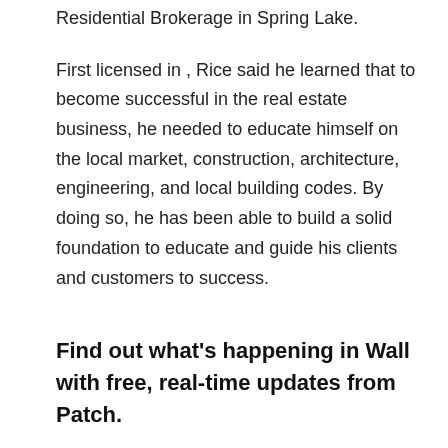Residential Brokerage in Spring Lake.
First licensed in , Rice said he learned that to become successful in the real estate business, he needed to educate himself on the local market, construction, architecture, engineering, and local building codes. By doing so, he has been able to build a solid foundation to educate and guide his clients and customers to success.
Find out what's happening in Wall with free, real-time updates from Patch.